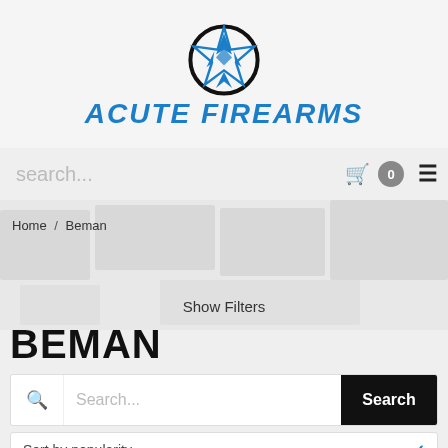[Figure (logo): Acute Firearms logo with star/arrow emblem and blue stylized text reading ACUTE FIREARMS]
search...
🛒 0 ≡
Home / Beman
Show Filters
BEMAN
Search...
Sort by popularity